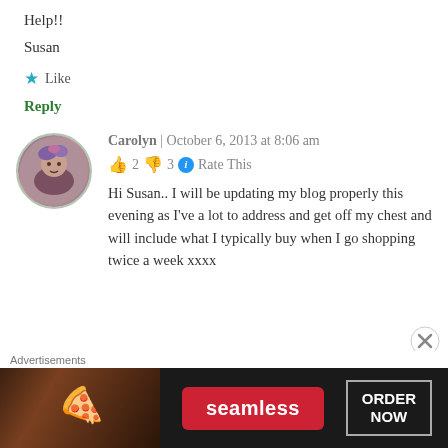Help!!
Susan
★ Like
Reply
Carolyn | October 6, 2013 at 8:06 am
👍 2 👎 3 ℹ Rate This
Hi Susan.. I will be updating my blog properly this evening as I've a lot to address and get off my chest and will include what I typically buy when I go shopping twice a week xxxx
[Figure (photo): Circular avatar photo of Carolyn with decorative hat/flowers, bordered in light green]
Advertisements
[Figure (infographic): Seamless food delivery advertisement banner with pizza image on dark background, red Seamless logo badge, and ORDER NOW button]